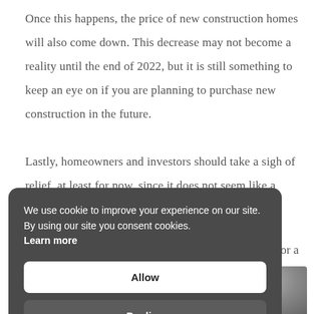Once this happens, the price of new construction homes will also come down. This decrease may not become a reality until the end of 2022, but it is still something to keep an eye on if you are planning to purchase new construction in the future.
Lastly, homeowners and investors should take a sigh of relief, at least for now, since it does not seem like a …east not for a …home …simply not …omes.
We use cookie to improve your experience on our site. By using our site you consent cookies. Learn more
Allow
Decline
[Figure (photo): Partial photo visible at bottom of page, blurred/grey tones]